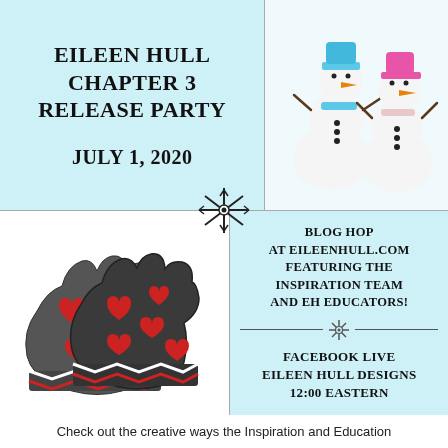EILEEN HULL CHAPTER 3 RELEASE PARTY
JULY 1, 2020
[Figure (photo): Two snowman figures made of marshmallows, one with a light blue hat and scarf, one with a pink hat, both with orange carrot noses and stick arms.]
[Figure (photo): Two dark gray felt mittens decorated with red hearts, with red and white chevron pattern at the cuffs.]
BLOG HOP AT EILEENHULL.COM FEATURING THE INSPIRATION TEAM AND EH EDUCATORS!
FACEBOOK LIVE EILEEN HULL DESIGNS 12:00 EASTERN
Check out the creative ways the Inspiration and Education